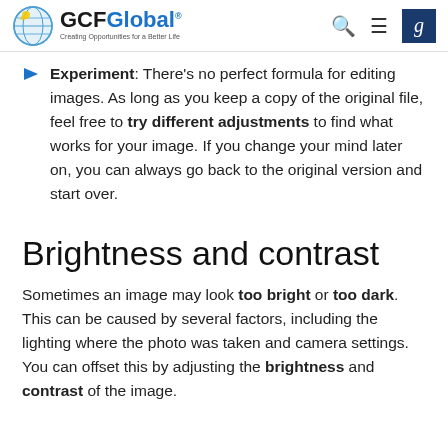GCFGlobal - Creating Opportunities for a Better Life
Experiment: There's no perfect formula for editing images. As long as you keep a copy of the original file, feel free to try different adjustments to find what works for your image. If you change your mind later on, you can always go back to the original version and start over.
Brightness and contrast
Sometimes an image may look too bright or too dark. This can be caused by several factors, including the lighting where the photo was taken and camera settings. You can offset this by adjusting the brightness and contrast of the image.